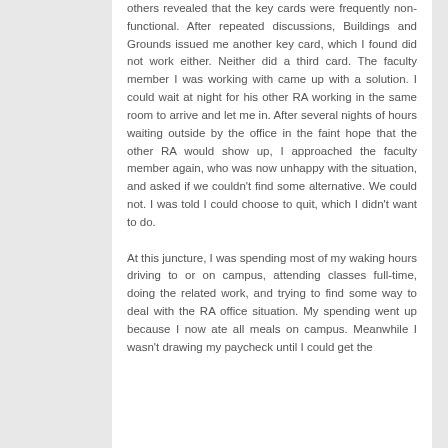others revealed that the key cards were frequently non-functional. After repeated discussions, Buildings and Grounds issued me another key card, which I found did not work either. Neither did a third card. The faculty member I was working with came up with a solution. I could wait at night for his other RA working in the same room to arrive and let me in. After several nights of hours waiting outside by the office in the faint hope that the other RA would show up, I approached the faculty member again, who was now unhappy with the situation, and asked if we couldn't find some alternative. We could not. I was told I could choose to quit, which I didn't want to do.
At this juncture, I was spending most of my waking hours driving to or on campus, attending classes full-time, doing the related work, and trying to find some way to deal with the RA office situation. My spending went up because I now ate all meals on campus. Meanwhile I wasn't drawing my paycheck until I could get the